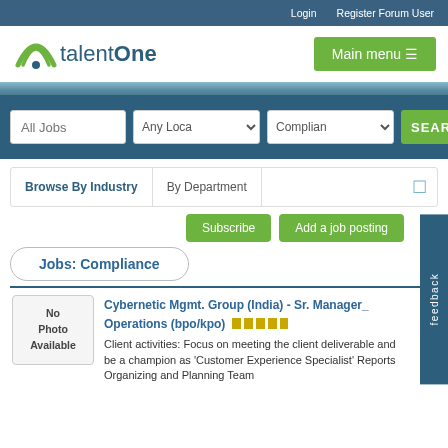Login   Register Forum User
[Figure (logo): talentOne logo with green arc/rainbow icon and teal text]
Main menu
All Jobs   Any Location   Compliance   SEARCH
Browse By Industry   By Department
Subscribe   Add a job posting
Jobs: Compliance
Cybernetic Mgmt. Group (India) - Sr. Manager_ Operations (bpo/kpo)
Client activities: Focus on meeting the client deliverable and be a champion as 'Customer Experience Specialist' Reports Organizing and Planning Team